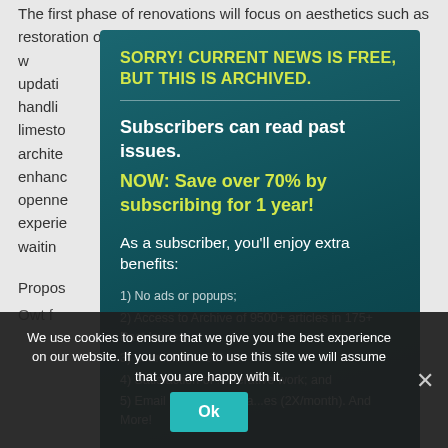The first phase of renovations will focus on aesthetics such as restoration of the classic benches in the w... ighting, updati... nd air-handli... of the limesto... e archite... n enhanc... tion's openne... experie... and waitin...
[Figure (screenshot): Modal overlay with teal background. Title: 'SORRY! CURRENT NEWS IS FREE, BUT THIS IS ARCHIVED.' then 'Subscribers can read past issues.' and 'NOW: Save over 70% by subscribing for 1 year!' followed by subscriber benefits list.]
As a subscriber, you'll enjoy extra benefits:
1) No ads or popups;
2) Access to Archive of 9500+ articles in 175+ Past Issues;
3) ... articles ... 95%...
4) Satisfaction of ... iterative work; and
5) Email notification of a ... es (2X/month). And More!
We use cookies to ensure that we give you the best experience on our website. If you continue to use this site we will assume that you are happy with it.